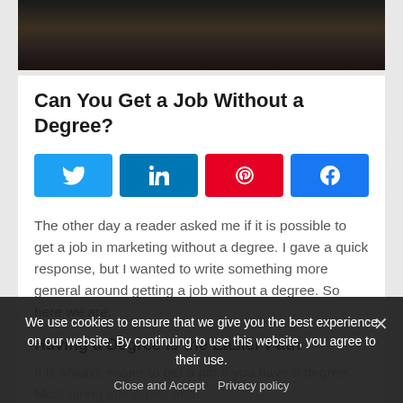[Figure (photo): Dark hero image at top of article, showing a dim background scene]
Can You Get a Job Without a Degree?
[Figure (infographic): Social share buttons: Twitter (blue), LinkedIn (dark blue), Pinterest (red), Facebook (blue)]
The other day a reader asked me if it is possible to get a job in marketing without a degree.  I gave a quick response, but I wanted to write something more general around getting a job without a degree.  So here we are.
Having a Degree is the Easier Path
It is always easier to get a job if you have a degree.  Most hiring managers and systems filter out those who do not qualify and
We use cookies to ensure that we give you the best experience on our website. By continuing to use this website, you agree to their use.
Close and Accept   Privacy policy